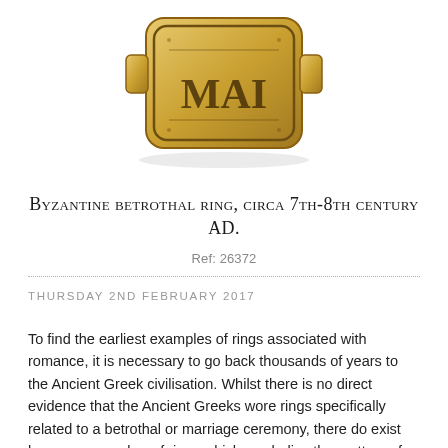[Figure (photo): Close-up photograph of a Byzantine betrothal ring with gold color and engraved decorations, partially cropped at the top of the page]
Byzantine betrothal ring, circa 7th-8th century AD.
Ref: 26372
Thursday 2nd February 2017
To find the earliest examples of rings associated with romance, it is necessary to go back thousands of years to the Ancient Greek civilisation. Whilst there is no direct evidence that the Ancient Greeks wore rings specifically related to a betrothal or marriage ceremony, there do exist however a number of rings which symbolise the matters of the heart such as the Hercules Knot which may have been worn as a talisman or lucky charm, reminding the owner of the giver's affection for them